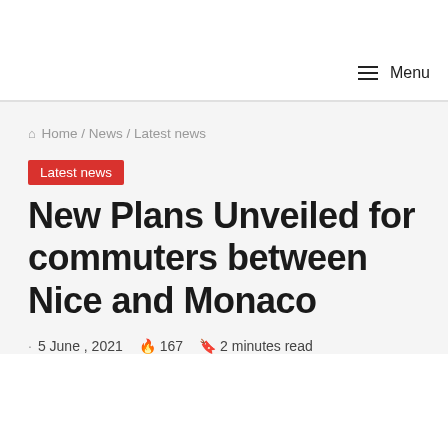Menu
Home / News / Latest news
Latest news
New Plans Unveiled for commuters between Nice and Monaco
5 June , 2021  167  2 minutes read